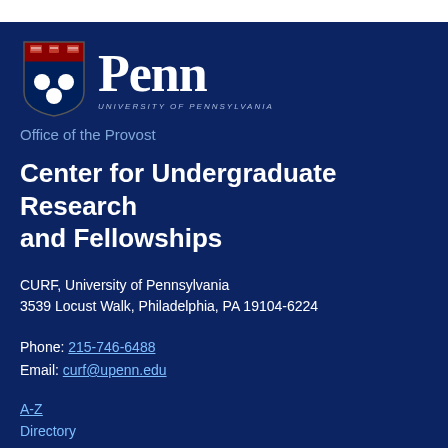[Figure (logo): University of Pennsylvania Penn shield logo with 'Penn' wordmark and 'University of Pennsylvania' subtitle]
Office of the Provost
Center for Undergraduate Research and Fellowships
CURF, University of Pennsylvania
3539 Locust Walk, Philadelphia, PA 19104-6224
Phone: 215-746-6488
Email: curf@upenn.edu
A-Z
Directory